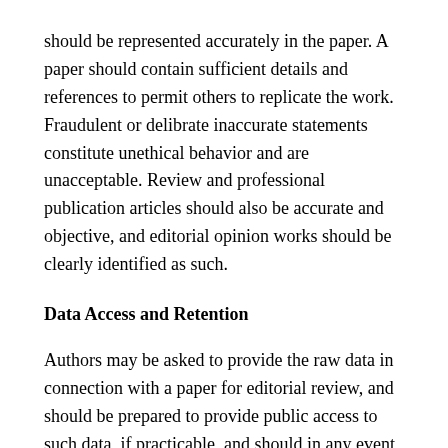should be represented accurately in the paper. A paper should contain sufficient details and references to permit others to replicate the work. Fraudulent or delibrate inaccurate statements constitute unethical behavior and are unacceptable. Review and professional publication articles should also be accurate and objective, and editorial opinion works should be clearly identified as such.
Data Access and Retention
Authors may be asked to provide the raw data in connection with a paper for editorial review, and should be prepared to provide public access to such data, if practicable, and should in any event be prepared to retain such data for a reasonable time after publication.
Originality and Plagiarism
The authors should ensure that they have written entirely